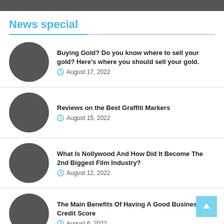News special
Buying Gold? Do you know where to sell your gold? Here's where you should sell your gold. | August 17, 2022
Reviews on the Best Graffiti Markers | August 15, 2022
What Is Nollywood And How Did It Become The 2nd Biggest Film Industry? | August 12, 2022
The Main Benefits Of Having A Good Business Credit Score | August 6, 2022